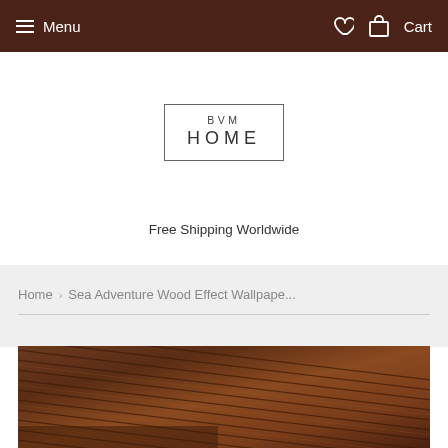≡ Menu  ♡  🛒 Cart
[Figure (logo): BVM HOME logo in a rectangular border box]
Free Shipping Worldwide
Home › Sea Adventure Wood Effect Wallpape...
[Figure (photo): Wood effect wallpaper product image showing diagonal dark brown wood planks]